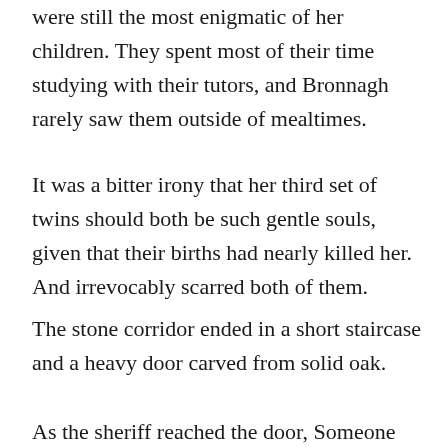were still the most enigmatic of her children. They spent most of their time studying with their tutors, and Bronnagh rarely saw them outside of mealtimes.
It was a bitter irony that her third set of twins should both be such gentle souls, given that their births had nearly killed her. And irrevocably scarred both of them.
The stone corridor ended in a short staircase and a heavy door carved from solid oak.
As the sheriff reached the door, Someone and